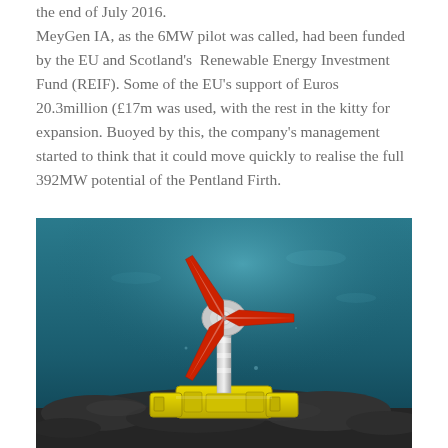the end of July 2016.

MeyGen IA, as the 6MW pilot was called, had been funded by the EU and Scotland's Renewable Energy Investment Fund (REIF). Some of the EU's support of Euros 20.3million (£17m was used, with the rest in the kitty for expansion. Buoyed by this, the company's management started to think that it could move quickly to realise the full 392MW potential of the Pentland Firth.
[Figure (illustration): 3D rendering of an underwater tidal turbine with red blades mounted on a yellow base structure on the seabed, set against a teal-blue underwater environment.]